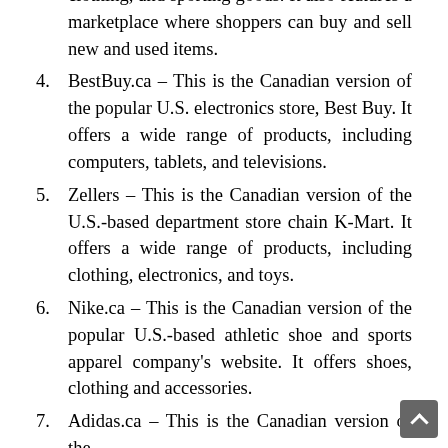clothing, and sporting goods. It also features a marketplace where shoppers can buy and sell new and used items.
BestBuy.ca - This is the Canadian version of the popular U.S. electronics store, Best Buy. It offers a wide range of products, including computers, tablets, and televisions.
Zellers - This is the Canadian version of the U.S.-based department store chain K-Mart. It offers a wide range of products, including clothing, electronics, and toys.
Nike.ca - This is the Canadian version of the popular U.S.-based athletic shoe and sports apparel company's website. It offers shoes, clothing and accessories.
Adidas.ca - This is the Canadian version of the